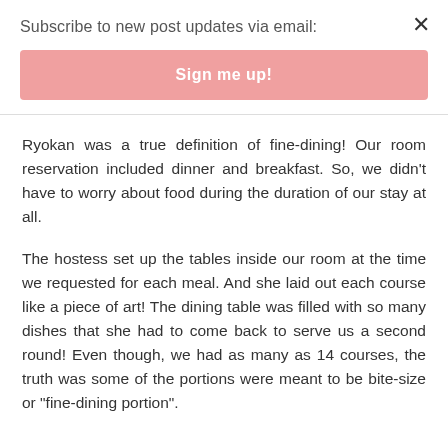Subscribe to new post updates via email:
Sign me up!
Ryokan was a true definition of fine-dining! Our room reservation included dinner and breakfast. So, we didn't have to worry about food during the duration of our stay at all.
The hostess set up the tables inside our room at the time we requested for each meal. And she laid out each course like a piece of art! The dining table was filled with so many dishes that she had to come back to serve us a second round! Even though, we had as many as 14 courses, the truth was some of the portions were meant to be bite-size or "fine-dining portion".